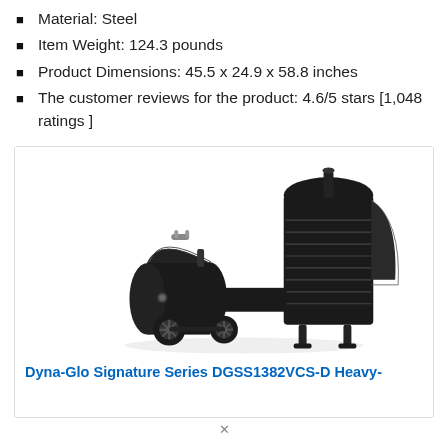Material: Steel
Item Weight: 124.3 pounds
Product Dimensions: 45.5 x 24.9 x 58.8 inches
The customer reviews for the product: 4.6/5 stars [1,048 ratings ]
[Figure (photo): Black Dyna-Glo Signature Series DGSS1382VCS-D heavy-duty vertical offset charcoal smoker with side firebox and open door panels]
Dyna-Glo Signature Series DGSS1382VCS-D Heavy-